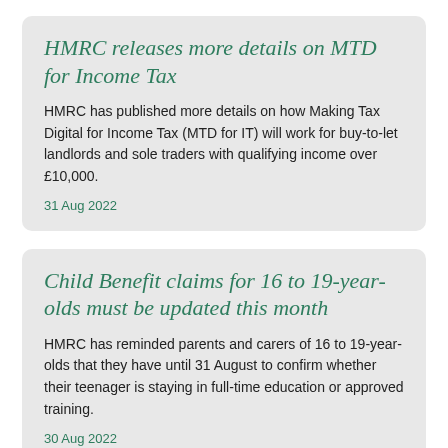HMRC releases more details on MTD for Income Tax
HMRC has published more details on how Making Tax Digital for Income Tax (MTD for IT) will work for buy-to-let landlords and sole traders with qualifying income over £10,000.
31 Aug 2022
Child Benefit claims for 16 to 19-year-olds must be updated this month
HMRC has reminded parents and carers of 16 to 19-year-olds that they have until 31 August to confirm whether their teenager is staying in full-time education or approved training.
30 Aug 2022